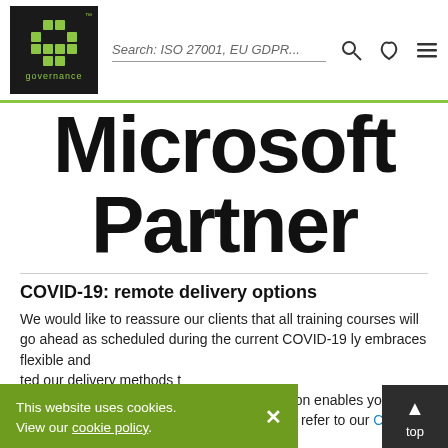IT Governance — Search: ISO 27001, EU GDPR...
Microsoft Partner
COVID-19: remote delivery options
We would like to reassure our clients that all training courses will go ahead as scheduled during the current COVID-19 [pandemic. IT Governance] fully embraces flexible and [remote working, and upda]ted our delivery methods t[o reflect this for the futu]re. Our Classroom / Live Online delivery option enables you to attend either in person or online. Please also refer to our COVID-19 policy.